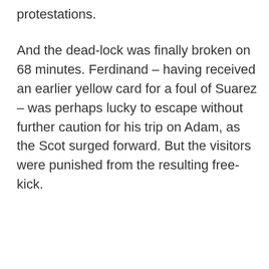protestations.
And the dead-lock was finally broken on 68 minutes. Ferdinand – having received an earlier yellow card for a foul of Suarez – was perhaps lucky to escape without further caution for his trip on Adam, as the Scot surged forward. But the visitors were punished from the resulting free-kick.